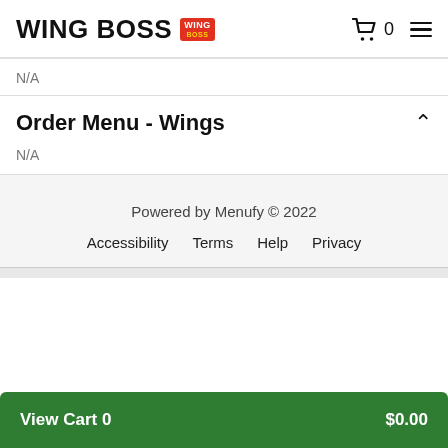WING BOSS
N/A
Order Menu - Wings
N/A
Powered by Menufy © 2022
Accessibility  Terms  Help  Privacy
View Cart 0  $0.00